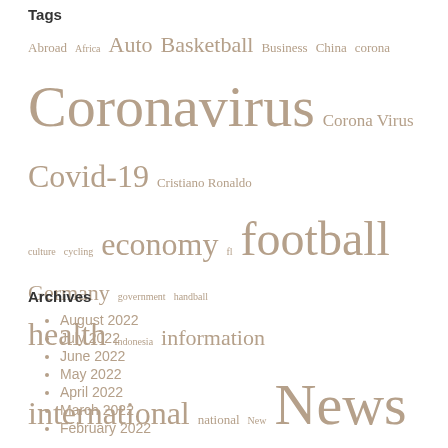Tags
[Figure (infographic): Tag cloud with words of varying sizes in beige/tan color: Abroad, Africa, Auto, Basketball, Business, China, corona, Coronavirus, Corona Virus, Covid-19, Cristiano Ronaldo, culture, cycling, economy, fl, football, Germany, government, handball, health, Indonesia, information, international, national, New, News, newspaper, new York, opinion, pandemic, photo, politics, premier league, report, Russia, Soccer, Southgerman newspaper, sport, Sports, TV, Ukraine, United States, USA, video, World]
Archives
August 2022
July 2022
June 2022
May 2022
April 2022
March 2022
February 2022